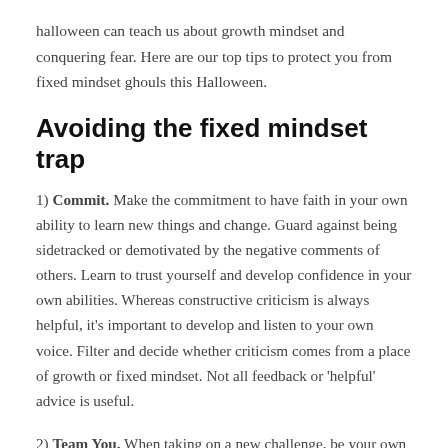halloween can teach us about growth mindset and conquering fear. Here are our top tips to protect you from fixed mindset ghouls this Halloween.
Avoiding the fixed mindset trap
1) Commit. Make the commitment to have faith in your own ability to learn new things and change. Guard against being sidetracked or demotivated by the negative comments of others. Learn to trust yourself and develop confidence in your own abilities. Whereas constructive criticism is always helpful, it's important to develop and listen to your own voice. Filter and decide whether criticism comes from a place of growth or fixed mindset. Not all feedback or 'helpful' advice is useful.
2) Team You. When taking on a new challenge, be your own cheerleader. Develop the habit of encouraging